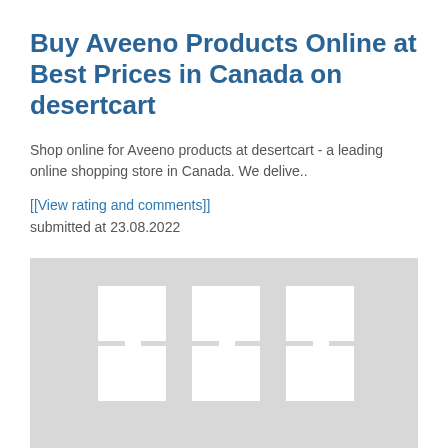Buy Aveeno Products Online at Best Prices in Canada on desertcart
Shop online for Aveeno products at desertcart - a leading online shopping store in Canada. We delive..
[[View rating and comments]]
submitted at 23.08.2022
[Figure (other): Gray placeholder image with white cross/plus shapes representing product image thumbnails for Aveeno products]